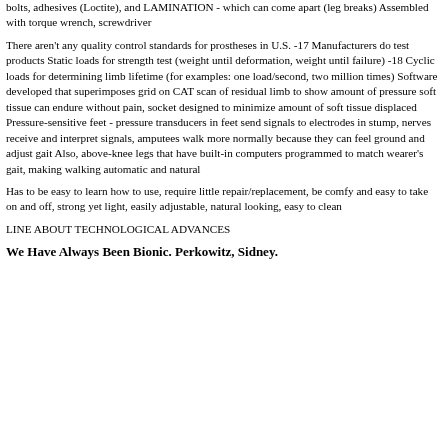bolts, adhesives (Loctite), and LAMINATION - which can come apart (leg breaks) Assembled with torque wrench, screwdriver
There aren't any quality control standards for prostheses in U.S. -17 Manufacturers do test products Static loads for strength test (weight until deformation, weight until failure) -18 Cyclic loads for determining limb lifetime (for examples: one load/second, two million times) Software developed that superimposes grid on CAT scan of residual limb to show amount of pressure soft tissue can endure without pain, socket designed to minimize amount of soft tissue displaced Pressure-sensitive feet - pressure transducers in feet send signals to electrodes in stump, nerves receive and interpret signals, amputees walk more normally because they can feel ground and adjust gait Also, above-knee legs that have built-in computers programmed to match wearer's gait, making walking automatic and natural
Has to be easy to learn how to use, require little repair/replacement, be comfy and easy to take on and off, strong yet light, easily adjustable, natural looking, easy to clean
LINE ABOUT TECHNOLOGICAL ADVANCES
We Have Always Been Bionic. Perkowitz, Sidney.